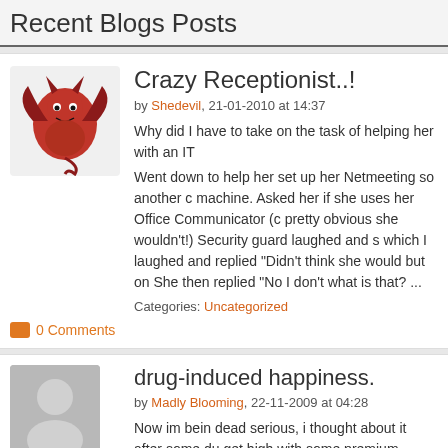Recent Blogs Posts
Crazy Receptionist..!
by Shedevil, 21-01-2010 at 14:37
Why did I have to take on the task of helping her with an IT
Went down to help her set up her Netmeeting so another c machine. Asked her if she uses her Office Communicator (c pretty obvious she wouldn't!) Security guard laughed and s which I laughed and replied "Didn't think she would but on She then replied "No I don't what is that? ...
Categories: Uncategorized
0 Comments
drug-induced happiness.
by Madly Blooming, 22-11-2009 at 04:28
Now im bein dead serious, i thought about it after some du get high with some premium wood, tellin me its like the b a